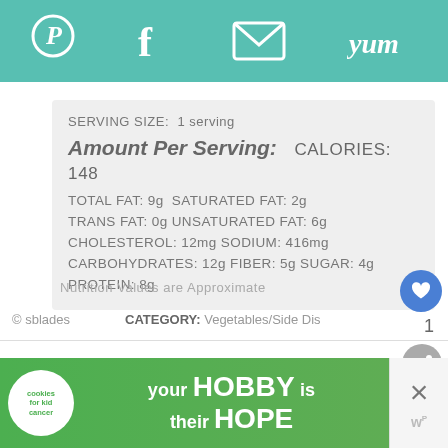Pinterest | Facebook | Email | Yum
| SERVING SIZE: | 1 serving |
| Amount Per Serving: | CALORIES: 148 |
| TOTAL FAT: | 9g | SATURATED FAT: | 2g |
| TRANS FAT: | 0g | UNSATURATED FAT: | 6g |
| CHOLESTEROL: | 12mg | SODIUM: | 416mg |
| CARBOHYDRATES: | 12g | FIBER: | 5g | SUGAR: | 4g |
| PROTEIN: | 8g |
Nutrition Values are Approximate
© sblades   CATEGORY: Vegetables/Side Dis
[Figure (screenshot): Ad banner: cookies for kid cancer - your HOBBY is their HOPE]